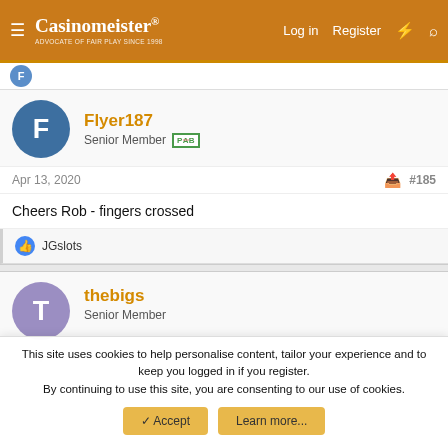Casinomeister® — Log in  Register
Flyer187
Senior Member PAB
Apr 13, 2020  #185
Cheers Rob - fingers crossed
👍 JGslots
thebigs
Senior Member
This site uses cookies to help personalise content, tailor your experience and to keep you logged in if you register.
By continuing to use this site, you are consenting to our use of cookies.
Accept  Learn more...